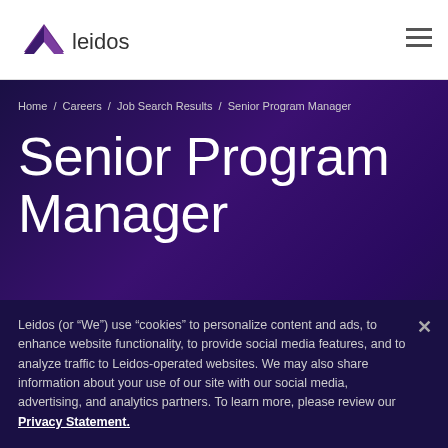[Figure (logo): Leidos logo with purple arrow/chevron icon and 'leidos' wordmark in dark gray]
Home / Careers / Job Search Results / Senior Program Manager
Senior Program Manager
Leidos (or “We”) use “cookies” to personalize content and ads, to enhance website functionality, to provide social media features, and to analyze traffic to Leidos-operated websites. We may also share information about your use of our site with our social media, advertising, and analytics partners. To learn more, please review our Privacy Statement.